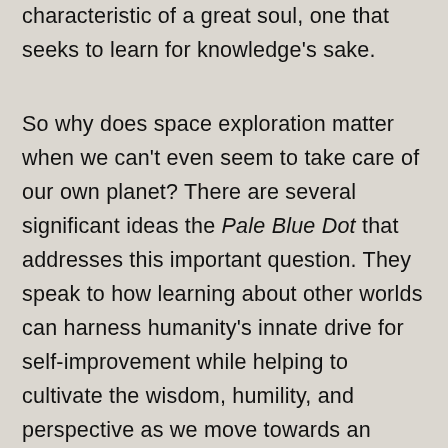characteristic of a great soul, one that seeks to learn for knowledge's sake.
So why does space exploration matter when we can't even seem to take care of our own planet? There are several significant ideas the Pale Blue Dot that addresses this important question. They speak to how learning about other worlds can harness humanity's innate drive for self-improvement while helping to cultivate the wisdom, humility, and perspective as we move towards an increasingly uncertain and complex future.